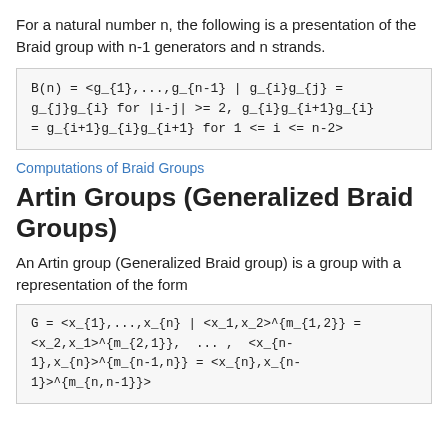For a natural number n, the following is a presentation of the Braid group with n-1 generators and n strands.
Computations of Braid Groups
Artin Groups (Generalized Braid Groups)
An Artin group (Generalized Braid group) is a group with a representation of the form